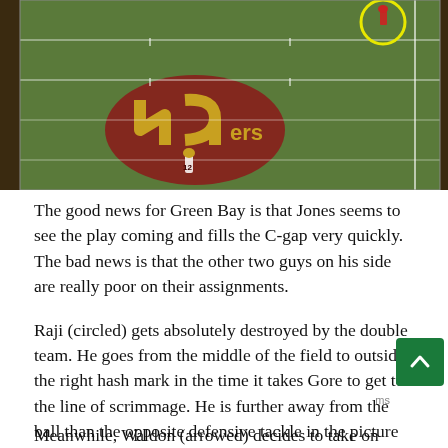[Figure (photo): Aerial/broadcast view of an American football field, showing a 49ers logo at midfield, with player #12 visible and a yellow circle highlighting another player near the top of the frame.]
The good news for Green Bay is that Jones seems to see the play coming and fills the C-gap very quickly. The bad news is that the other two guys on his side are really poor on their assignments.
Raji (circled) gets absolutely destroyed by the double team. He goes from the middle of the field to outside the right hash mark in the time it takes Gore to get to the line of scrimmage. He is further away from the ball than the opposite defensive tackle in the picture above. This play neatly sums up the horrible day that the former Boston College standout had.
Meanwhile, Waldon (arrowed) decides to take on